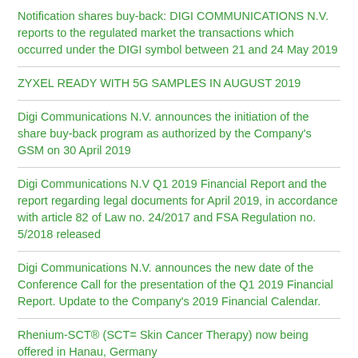Notification shares buy-back: DIGI COMMUNICATIONS N.V. reports to the regulated market the transactions which occurred under the DIGI symbol between 21 and 24 May 2019
ZYXEL READY WITH 5G SAMPLES IN AUGUST 2019
Digi Communications N.V. announces the initiation of the share buy-back program as authorized by the Company's GSM on 30 April 2019
Digi Communications N.V Q1 2019 Financial Report and the report regarding legal documents for April 2019, in accordance with article 82 of Law no. 24/2017 and FSA Regulation no. 5/2018 released
Digi Communications N.V. announces the new date of the Conference Call for the presentation of the Q1 2019 Financial Report. Update to the Company's 2019 Financial Calendar.
Rhenium-SCT® (SCT= Skin Cancer Therapy) now being offered in Hanau, Germany
Project consortium aims at driving the adoption of selective laser